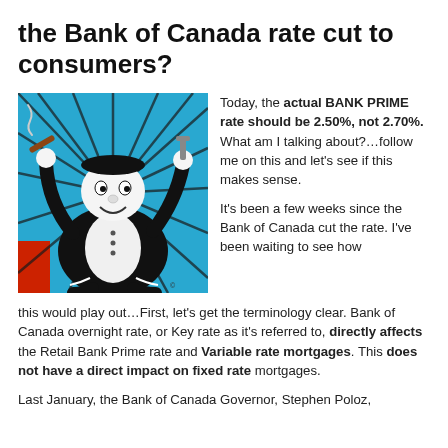the Bank of Canada rate cut to consumers?
[Figure (illustration): Stylized illustration of a Monopoly-like fat-cat businessman character in black and white, celebrating with arms raised, holding a cigar, against a blue background with red element at bottom left. Pop-art style.]
Today, the actual BANK PRIME rate should be 2.50%, not 2.70%. What am I talking about?...follow me on this and let's see if this makes sense.

It's been a few weeks since the Bank of Canada cut the rate. I've been waiting to see how this would play out...First, let's get the terminology clear. Bank of Canada overnight rate, or Key rate as it's referred to, directly affects the Retail Bank Prime rate and Variable rate mortgages. This does not have a direct impact on fixed rate mortgages.
Last January, the Bank of Canada Governor, Stephen Poloz,